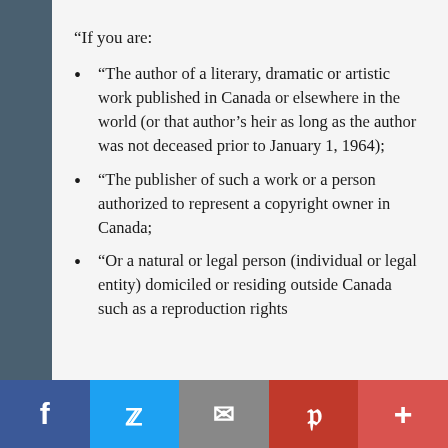“If you are:
“The author of a literary, dramatic or artistic work published in Canada or elsewhere in the world (or that author’s heir as long as the author was not deceased prior to January 1, 1964);
“The publisher of such a work or a person authorized to represent a copyright owner in Canada;
“Or a natural or legal person (individual or legal entity) domiciled or residing outside Canada such as a reproduction rights